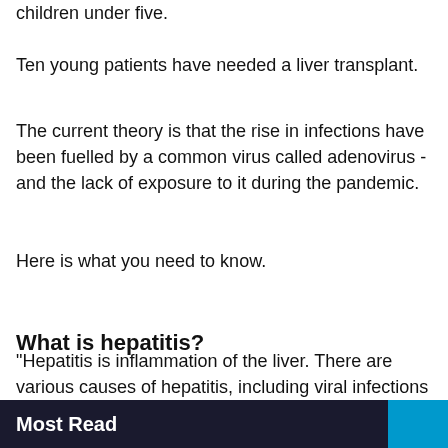children under five.
Ten young patients have needed a liver transplant.
The current theory is that the rise in infections have been fuelled by a common virus called adenovirus - and the lack of exposure to it during the pandemic.
Here is what you need to know.
What is hepatitis?
“Hepatitis is inflammation of the liver. There are various causes of hepatitis, including viral infections and alcohol consumption,” said Dr Stephanie Ooi, a GP at the MyHealthcare Clinic in London.
Most Read